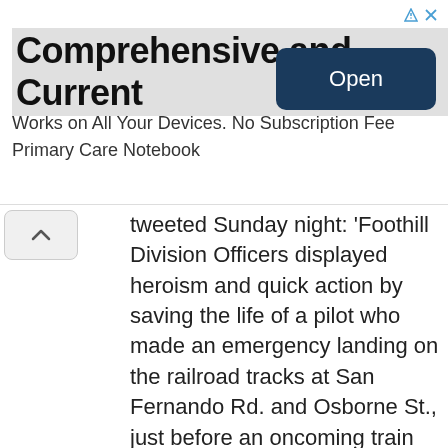[Figure (screenshot): Advertisement banner: 'Comprehensive and Current' with subtitle 'Works on All Your Devices. No Subscription Fee / Primary Care Notebook' and an 'Open' button on the right.]
tweeted Sunday night: ‘Foothill Division Officers displayed heroism and quick action by saving the life of a pilot who made an emergency landing on the railroad tracks at San Fernando Rd. and Osborne St., just before an oncoming train collided with the aircraft.’ The FAA and the National Transportation Safety Board are investigating the accident.
Officials said Metrolink service was paused and road traffic was detoured in the area, about 20 miles northwest of downtown Los Angeles.
Photos from the scene showed the single-